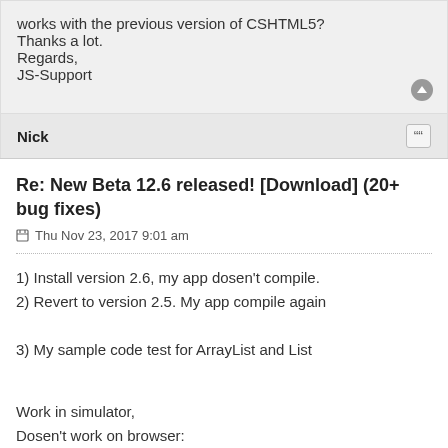works with the previous version of CSHTML5?
Thanks a lot.
Regards,
JS-Support
Nick
Re: New Beta 12.6 released! [Download] (20+ bug fixes)
Thu Nov 23, 2017 9:01 am
1) Install version 2.6, my app dosen't compile.
2) Revert to version 2.5. My app compile again
3) My sample code test for ArrayList and List
Work in simulator,
Dosen't work on browser:
- Console is empty